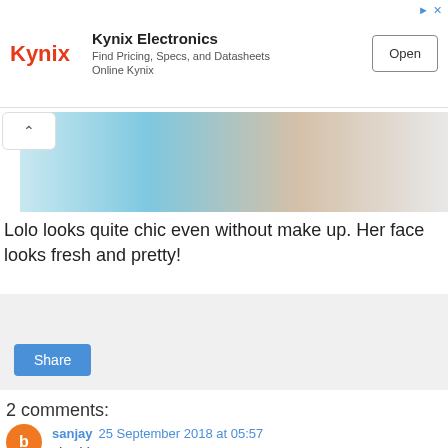[Figure (other): Kynix Electronics advertisement banner with logo, text 'Find Pricing, Specs, and Datasheets Online Kynix', and Open button]
[Figure (photo): Partial photo showing a person in blue/teal clothing, cropped view]
Lolo looks quite chic even without make up. Her face looks fresh and pretty!
[Figure (other): Share button area with light grey background]
2 comments:
sanjay 25 September 2018 at 05:57 nice blog